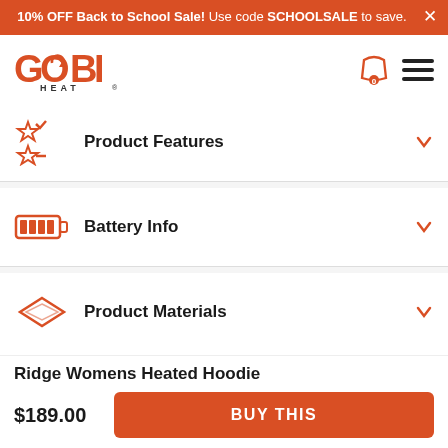10% OFF Back to School Sale! Use code SCHOOLSALE to save.
[Figure (logo): Gobi Heat logo - orange bold GOBI with HEAT text below]
Product Features
Battery Info
Product Materials
Ridge Womens Heated Hoodie
$189.00
BUY THIS